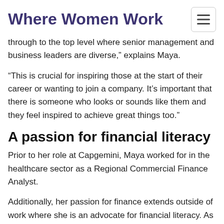Where Women Work
through to the top level where senior management and business leaders are diverse,” explains Maya.
“This is crucial for inspiring those at the start of their career or wanting to join a company. It’s important that there is someone who looks or sounds like them and they feel inspired to achieve great things too.”
A passion for financial literacy
Prior to her role at Capgemini, Maya worked for in the healthcare sector as a Regional Commercial Finance Analyst.
Additionally, her passion for finance extends outside of work where she is an advocate for financial literacy. As